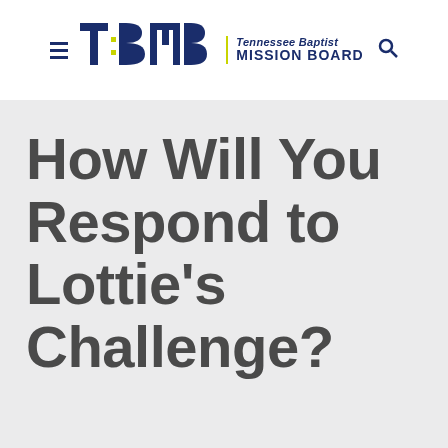[Figure (logo): Tennessee Baptist Mission Board logo with hamburger menu icon, TBMB stylized letters in dark navy blue and chartreuse yellow, and text reading 'Tennessee Baptist MISSION BOARD' with a search icon]
How Will You Respond to Lottie's Challenge?